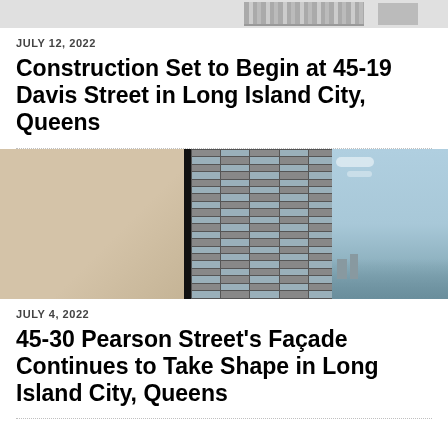[Figure (photo): Partial top of building photo, cropped at top of page]
JULY 12, 2022
Construction Set to Begin at 45-19 Davis Street in Long Island City, Queens
[Figure (photo): Rendering of tall residential tower at 45-30 Pearson Street in Long Island City with grid facade, blue sky, and neighboring buildings]
JULY 4, 2022
45-30 Pearson Street's Façade Continues to Take Shape in Long Island City, Queens